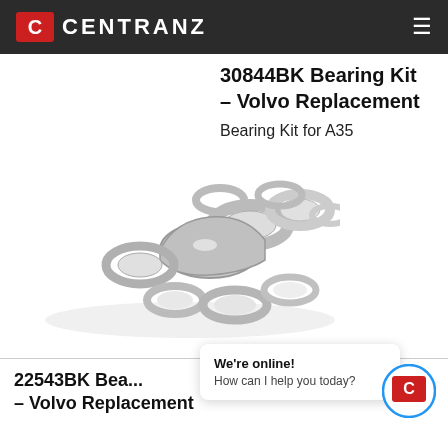CENTRANZ
30844BK Bearing Kit – Volvo Replacement
Bearing Kit for A35
[Figure (photo): A collection of metal tapered roller bearing races and rings piled together on a white background]
[Figure (photo): A second smaller collection of metal tapered roller bearing rings and races on a white background]
22543BK Bearing Kit – Volvo Replacement
We're online! How can I help you today?